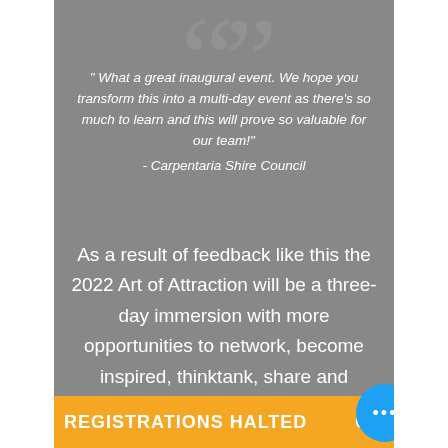" What a great inaugural event. We hope you transform this into a multi-day event as there's so much to learn and this will prove so valuable for our team!" - Carpentaria Shire Council
As a result of feedback like this the 2022 Art of Attraction will be a three-day immersion with more opportunities to network, become inspired, thinktank, share and celebrate.
REGISTRATIONS HALTED O